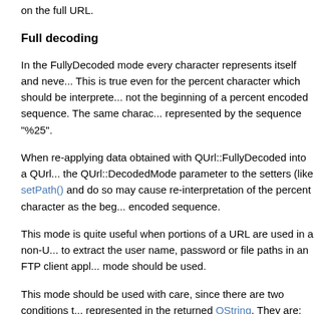on the full URL.
Full decoding
In the FullyDecoded mode every character represents itself and neve... This is true even for the percent character which should be interprete... not the beginning of a percent encoded sequence. The same charac... represented by the sequence "%25".
When re-applying data obtained with QUrl::FullyDecoded into a QUrl... the QUrl::DecodedMode parameter to the setters (like setPath() and ... do so may cause re-interpretation of the percent character as the beg... encoded sequence.
This mode is quite useful when portions of a URL are used in a non-U... to extract the user name, password or file paths in an FTP client appl... mode should be used.
This mode should be used with care, since there are two conditions t... represented in the returned QString. They are:
Non-UTF-8 sequences: A URL may contain sequences of pe...